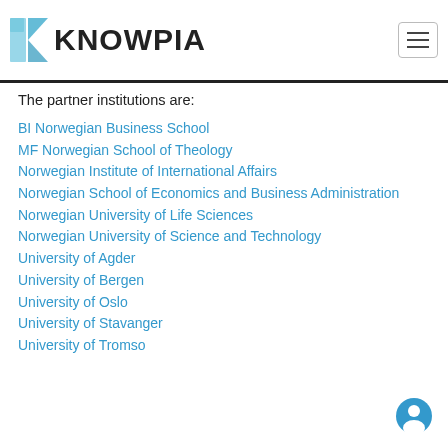KNOWPIA
The partner institutions are:
BI Norwegian Business School
MF Norwegian School of Theology
Norwegian Institute of International Affairs
Norwegian School of Economics and Business Administration
Norwegian University of Life Sciences
Norwegian University of Science and Technology
University of Agder
University of Bergen
University of Oslo
University of Stavanger
University of Tromso